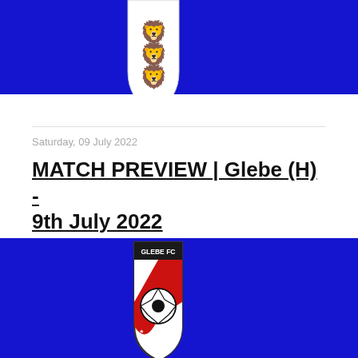[Figure (logo): England FC logo on blue background, showing three lions crest with F.C. text, bottom portion visible]
Saturday, 09 July 2022
MATCH PREVIEW | Glebe (H) - 9th July 2022
[Figure (logo): Glebe FC logo on blue background, showing a shield crest with GLEBE FC text, red and white sections with a soccer ball and stars]